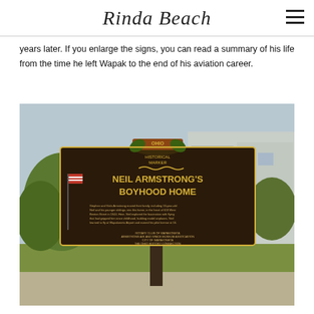Rinda Beach
years later. If you enlarge the signs, you can read a summary of his life from the time he left Wapak to the end of his aviation career.
[Figure (photo): Ohio Historical Marker sign for Neil Armstrong's Boyhood Home, mounted on a post in front of a white house. The dark brown sign reads 'NEIL ARMSTRONG'S BOYHOOD HOME' in large gold letters with descriptive text below.]